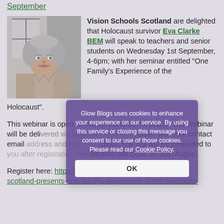September
[Figure (photo): Portrait photo of Eva Clarke BEM, an elderly woman with white/grey hair, smiling, wearing a beige jacket, in a bright indoor setting.]
Vision Schools Scotland are delighted that Holocaust survivor Eva Clarke BEM will speak to teachers and senior students on Wednesday 1st September, 4-6pm; with her seminar entitled "One Family's Experience of the Holocaust".
This webinar is open to teachers and S5/S6 pupils. The Webinar will be delivered via Microsoft Teams. Register with your contact email address and name of school. The link will be forwarded to you after registration. Registration will close on 30th August.
Register here: https://www.[...]/e/vision-schools-scotland-presents-one-familys-experience-of-the-holocaust-
Glow Blogs uses cookies to enhance your experience on our service. By using this service or closing this message you consent to our use of those cookies. Please read our Cookie Policy.